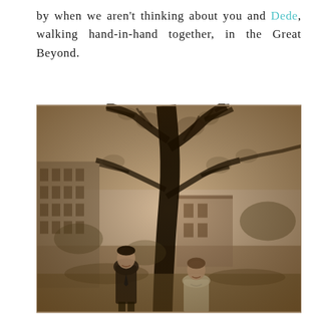by when we aren't thinking about you and Dede, walking hand-in-hand together, in the Great Beyond.
[Figure (photo): A vintage sepia-toned photograph showing a couple (a man in a suit and a woman in light clothing) standing in front of a large bare tree, with a brick building visible in the background. The photo appears to be from the mid-20th century.]